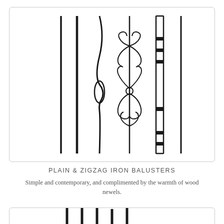[Figure (illustration): Six iron balusters displayed side by side: two plain round balusters, one wavy/zigzag baluster, one ornate scroll/floral design baluster, one rectangular bar baluster with horizontal rungs, and one thin plain baluster. All rendered in dark gray/black on white background inside a rounded-corner box.]
PLAIN & ZIGZAG IRON BALUSTERS
Simple and contemporary, and complimented by the warmth of wood newels.
[Figure (illustration): Partial view of additional balusters at the bottom of the page, showing tops of vertical iron baluster shafts inside a rounded-corner box.]